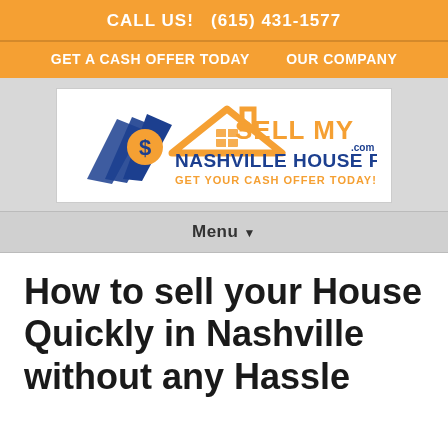CALL US!   (615) 431-1577
GET A CASH OFFER TODAY    OUR COMPANY
[Figure (logo): Sell My Nashville House Fast .com logo with house graphic, dollar sign fan, and orange/blue color scheme with tagline GET YOUR CASH OFFER TODAY!]
Menu ▾
How to sell your House Quickly in Nashville without any Hassle